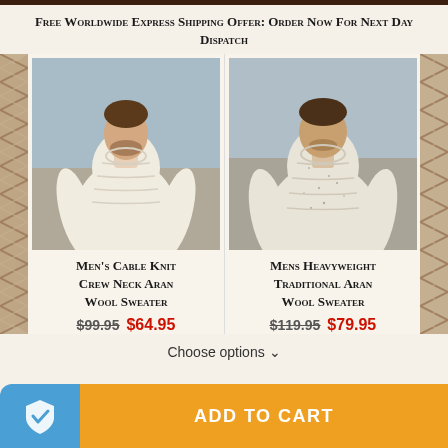Free Worldwide Express Shipping Offer: Order Now For Next Day Dispatch
[Figure (photo): Man wearing cream cable knit crew neck Aran wool sweater on a beach]
Men's Cable Knit Crew Neck Aran Wool Sweater
$99.95  $64.95
[Figure (photo): Man wearing cream heavyweight traditional Aran wool sweater on a beach]
Mens Heavyweight Traditional Aran Wool Sweater
$119.95  $79.95
Choose options ∨
ADD TO CART